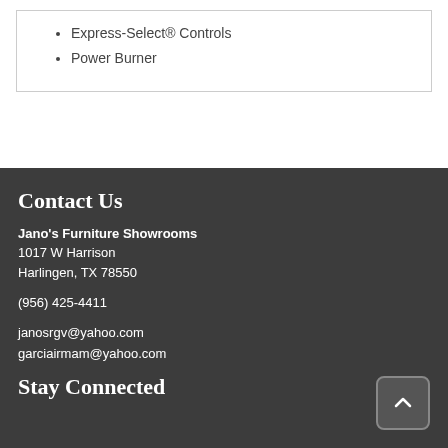Express-Select® Controls
Power Burner
Contact Us
Jano's Furniture Showrooms
1017 W Harrison
Harlingen, TX 78550

(956) 425-4411

janosrgv@yahoo.com
garciairmam@yahoo.com
Stay Connected